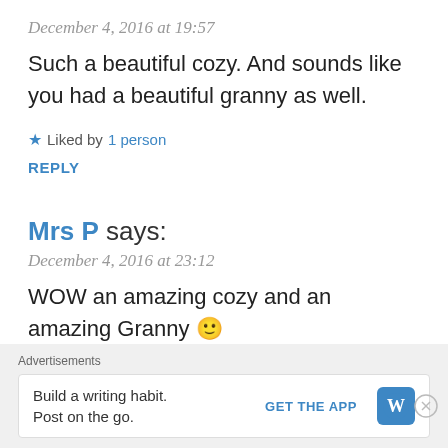December 4, 2016 at 19:57
Such a beautiful cozy. And sounds like you had a beautiful granny as well.
★ Liked by 1 person
REPLY
Mrs P says:
December 4, 2016 at 23:12
WOW an amazing cozy and an amazing Granny 🙂
Advertisements
Build a writing habit. Post on the go.
GET THE APP